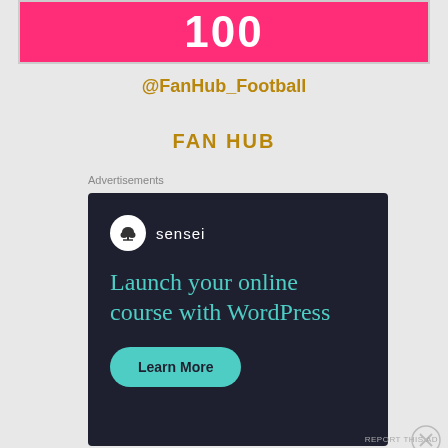[Figure (other): Hot pink banner with large white bold number '100']
@FanHub_Football
FAN HUB
Advertisements
[Figure (other): Sensei advertisement: Dark navy background with Sensei logo (tree in circle), text 'Launch your online course with WordPress', and a teal 'Learn More' button]
Advertisements